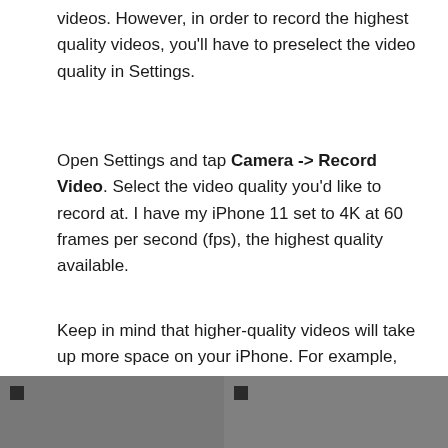videos. However, in order to record the highest quality videos, you'll have to preselect the video quality in Settings.
Open Settings and tap Camera -> Record Video. Select the video quality you'd like to record at. I have my iPhone 11 set to 4K at 60 frames per second (fps), the highest quality available.
Keep in mind that higher-quality videos will take up more space on your iPhone. For example, 1080p HD video at 60 fps is very high-quality, and those files will be less than 25% the size of a 4K video at 60 fps.
[Figure (photo): Two side-by-side dark gray image panels, each with a small dark square icon in the upper-left corner.]